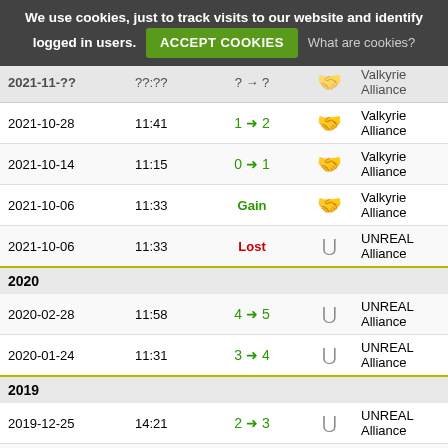We use cookies, just to track visits to our website and identify logged in users. ACCEPT COOKIES What are cookies?
| Date | Time | Change |  | Alliance |
| --- | --- | --- | --- | --- |
| 2021-10-28 | 11:41 | 1 → 2 |  | Valkyrie Alliance |
| 2021-10-14 | 11:15 | 0 → 1 |  | Valkyrie Alliance |
| 2021-10-06 | 11:33 | Gain |  | Valkyrie Alliance |
| 2021-10-06 | 11:33 | Lost |  | UNREAL Alliance |
| 2020 |  |  |  |  |
| 2020-02-28 | 11:58 | 4 → 5 |  | UNREAL Alliance |
| 2020-01-24 | 11:31 | 3 → 4 |  | UNREAL Alliance |
| 2019 |  |  |  |  |
| 2019-12-25 | 14:21 | 2 → 3 |  | UNREAL Alliance |
| 2019-12-11 | 11:57 | 1 → 2 |  | UNREAL Alliance |
| 2019-11-27 | 11:46 | 0 → 1 |  | UNREAL Alliance |
| 2019-11-20 | 11:29 | Gain |  | UNREAL Alliance |
| 2019-11-20 | 11:29 | Lost |  | Fraternity. |
| 2017 |  |  |  |  |
| 2017-08-23 | 13:33 | 4 → 5 |  | Fraternity. |
| 2017-07-19 | 13:54 | 3 → 4 |  | Fraternity. |